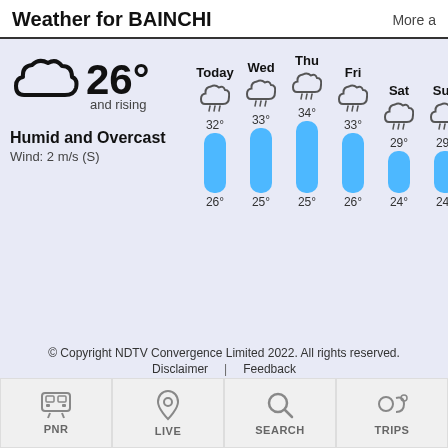Weather for BAINCHI  More a
[Figure (other): Cloud weather icon representing overcast/cloudy conditions]
26° and rising
Humid and Overcast
Wind: 2 m/s (S)
[Figure (grouped-bar-chart): Weekly Weather Forecast for BAINCHI]
© Copyright NDTV Convergence Limited 2022. All rights reserved.
Disclaimer | Feedback
PNR
LIVE
SEARCH
TRIPS